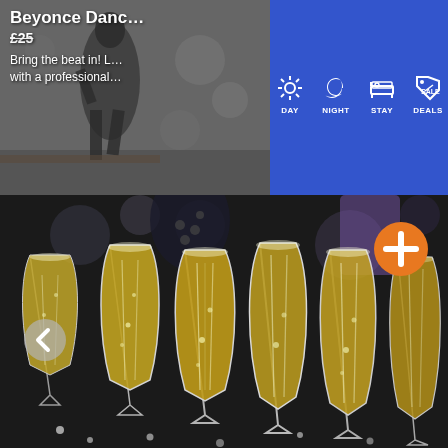[Figure (screenshot): Website/app interface screenshot showing a navigation bar with DAY, NIGHT, STAY, DEALS icons on a blue background, an event card for 'Beyonce Dance' with date and description 'Bring the beat in!' partially visible, and a large photo of champagne flutes filled with golden sparkling wine. An orange plus button and a left arrow navigation button are also visible.]